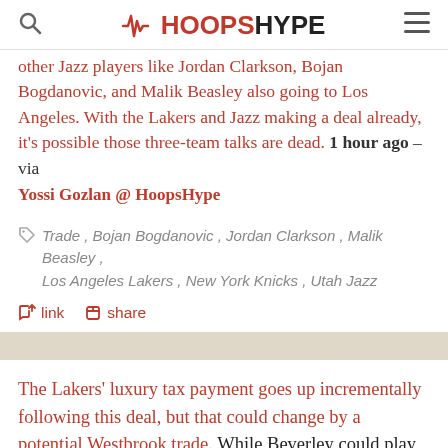HoopsHype
other Jazz players like Jordan Clarkson, Bojan Bogdanovic, and Malik Beasley also going to Los Angeles. With the Lakers and Jazz making a deal already, it's possible those three-team talks are dead. 1 hour ago – via Yossi Gozlan @ HoopsHype
Trade, Bojan Bogdanovic, Jordan Clarkson, Malik Beasley, Los Angeles Lakers, New York Knicks, Utah Jazz
link   share
The Lakers' luxury tax payment goes up incrementally following this deal, but that could change by a potential Westbrook trade. While Beverley could play both guard positions, his arrival could indicate that the Lakers are getting closer to trading Westbrook. With Kevin Durant committed to Brooklyn, it appears Kyrie Irving will remain with the Nets for now. One option that could still be available for the Lakers includes trading Westbrook